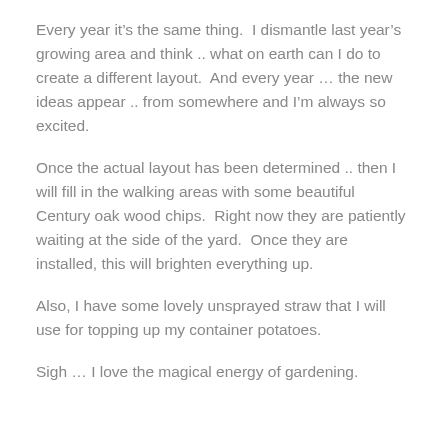Every year it’s the same thing.  I dismantle last year’s growing area and think .. what on earth can I do to create a different layout.  And every year … the new ideas appear .. from somewhere and I’m always so excited.
Once the actual layout has been determined .. then I will fill in the walking areas with some beautiful Century oak wood chips.  Right now they are patiently waiting at the side of the yard.  Once they are installed, this will brighten everything up.
Also, I have some lovely unsprayed straw that I will use for topping up my container potatoes.
Sigh … I love the magical energy of gardening.